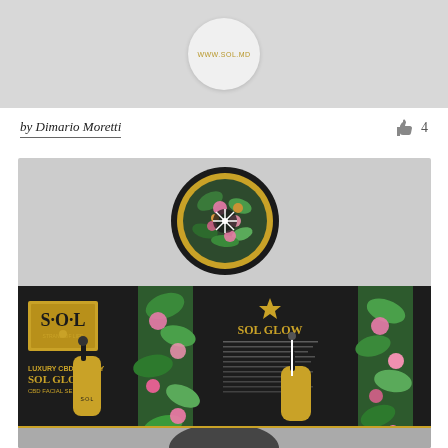[Figure (photo): Top portion of a cosmetic product (circular lid with website www.sol.md) on gray background]
by Dimario Moretti
4
[Figure (photo): SOL - Strand of Life luxury CBD beauty product packaging: circular floral-patterned lid top view, and two flat-lay box panels showing SOL GLOW CBD Facial Serum with gold dropper bottles, dark packaging with floral accents]